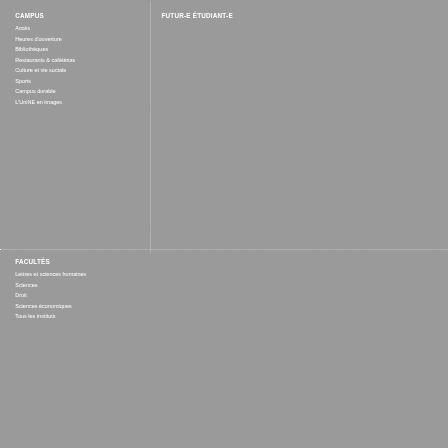CAMPUS
Accès
Heures d'ouverture
Bibliothèques
Restaurants & cafétérias
Culture et vie sociale
Sports
Campus durable
L'UniNE en images
FUTUR-E ÉTUDIANT-E
FACULTÉS
Lettres et sciences humaines
Sciences
Droit
Sciences économiques
Tous les instituts